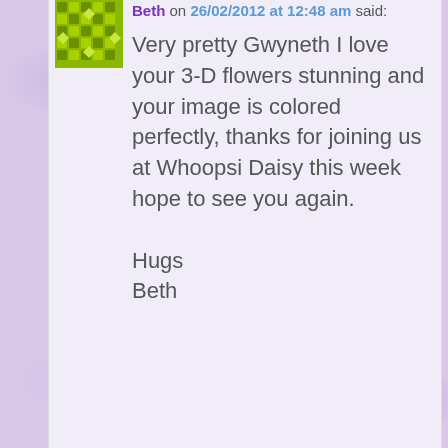Beth on 26/02/2012 at 12:48 am said:
Very pretty Gwyneth I love your 3-D flowers stunning and your image is colored perfectly, thanks for joining us at Whoopsi Daisy this week hope to see you again.
Hugs
Beth
Audrey E. on 26/02/2012 at 07:56 am said:
Wow, this is so gorgeous, I love how you did the recessed center and all the added flowers, etc. are just gorgeous. Thanks so much for playing this week